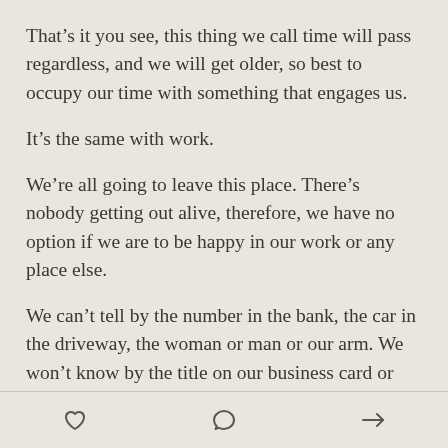That's it you see, this thing we call time will pass regardless, and we will get older, so best to occupy our time with something that engages us.
It's the same with work.
We're all going to leave this place. There's nobody getting out alive, therefore, we have no option if we are to be happy in our work or any place else.
We can't tell by the number in the bank, the car in the driveway, the woman or man or our arm. We won't know by the title on our business card or the number of clients on our books. It won't be clear from the sound of the applause or the number of pats on the back
[heart icon] [comment icon] [share icon]